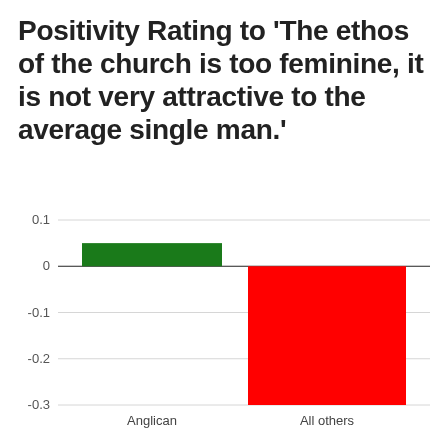Positivity Rating to 'The ethos of the church is too feminine, it is not very attractive to the average single man.'
[Figure (bar-chart): ]